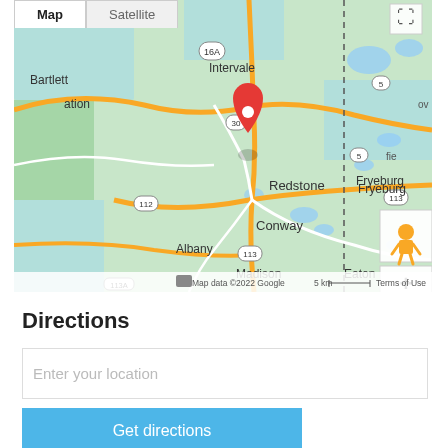[Figure (map): Google Map showing the Conway/Redstone, New Hampshire area with a red location pin near Redstone. Visible towns include Bartlett, Intervale, Redstone, Conway, Albany, Fryeburg, Madison, Eaton. Roads 16A, 30, 5, 112, 113 are labeled. Map/Satellite toggle tabs at top, street view and zoom controls on right side. Footer shows: Map data ©2022 Google | 5 km scale | Terms of Use.]
Directions
Enter your location
Get directions